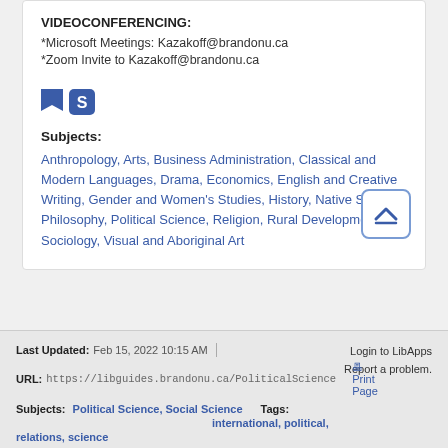VIDEOCONFERENCING:
*Microsoft Meetings: Kazakoff@brandonu.ca
*Zoom Invite to Kazakoff@brandonu.ca
[Figure (illustration): Two small blue icons: a bookmark/flag icon and a Skype 'S' icon]
Subjects:
Anthropology, Arts, Business Administration, Classical and Modern Languages, Drama, Economics, English and Creative Writing, Gender and Women's Studies, History, Native Studies, Philosophy, Political Science, Religion, Rural Development, Sociology, Visual and Aboriginal Art
Last Updated: Feb 15, 2022 10:15 AM | URL: https://libguides.brandonu.ca/PoliticalScience | Print Page | Login to LibApps | Report a problem. | Subjects: Political Science, Social Science | Tags: international, political, relations, science